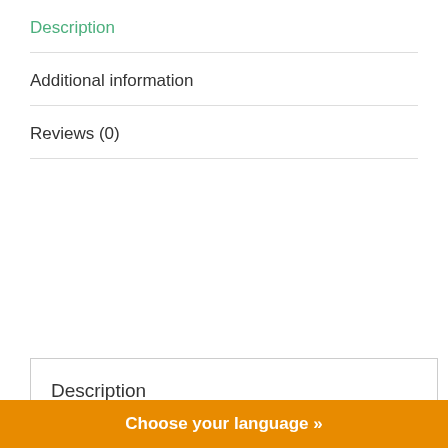Description
Additional information
Reviews (0)
Description
The pig slat flooring is a thickened leaking manure board for piglets.
The hog slatted floor hog slat flooring is available in a variety of sizes.
The pig hog slat flooring is made from high-quality thickened materials, which is corrosion-resistant, anti-aging and has a long service life.
Choose your language »